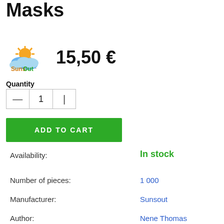Masks
[Figure (logo): SunsOut brand logo with sun and clouds]
15,50 €
Quantity
— 1 |
ADD TO CART
Availability: In stock
Number of pieces: 1 000
Manufacturer: Sunsout
Author: Nene Thomas